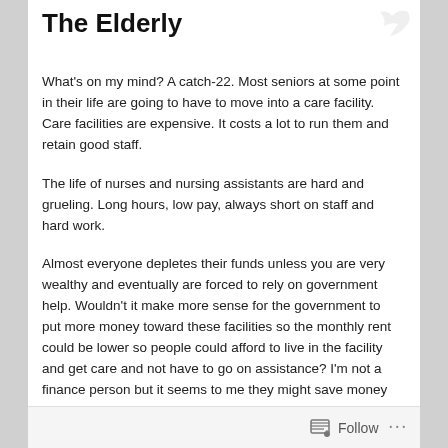The Elderly
What's on my mind? A catch-22. Most seniors at some point in their life are going to have to move into a care facility. Care facilities are expensive. It costs a lot to run them and retain good staff.
The life of nurses and nursing assistants are hard and grueling. Long hours, low pay, always short on staff and hard work.
Almost everyone depletes their funds unless you are very wealthy and eventually are forced to rely on government help. Wouldn't it make more sense for the government to put more money toward these facilities so the monthly rent could be lower so people could afford to live in the facility and get care and not have to go on assistance? I'm not a finance person but it seems to me they might save money by putting it at the top end and helping facilities
Follow ...